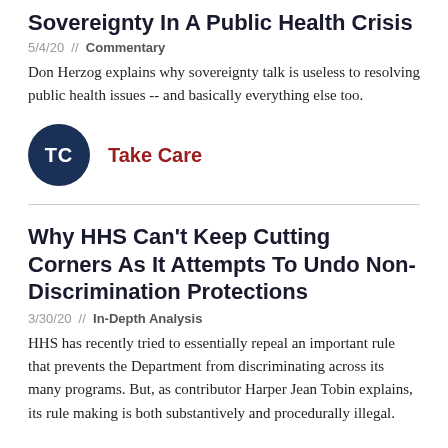Sovereignty In A Public Health Crisis
5/4/20 // Commentary
Don Herzog explains why sovereignty talk is useless to resolving public health issues -- and basically everything else too.
[Figure (logo): Dark navy circular logo with white text 'TC' representing Take Care blog]
Take Care
Why HHS Can't Keep Cutting Corners As It Attempts To Undo Non-Discrimination Protections
3/30/20 // In-Depth Analysis
HHS has recently tried to essentially repeal an important rule that prevents the Department from discriminating across its many programs. But, as contributor Harper Jean Tobin explains, its rule making is both substantively and procedurally illegal.